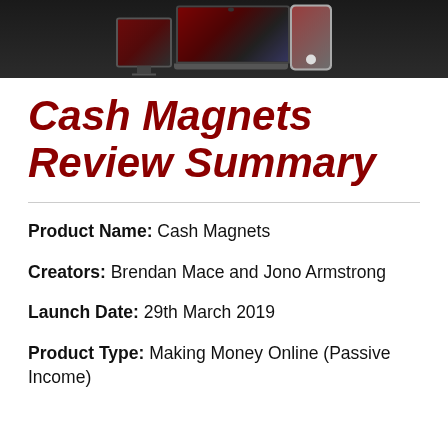[Figure (photo): Banner image showing electronic devices including a desktop monitor, laptop (MacBook), and smartphone arranged together against a dark background.]
Cash Magnets Review Summary
Product Name: Cash Magnets
Creators: Brendan Mace and Jono Armstrong
Launch Date: 29th March 2019
Product Type: Making Money Online (Passive Income)